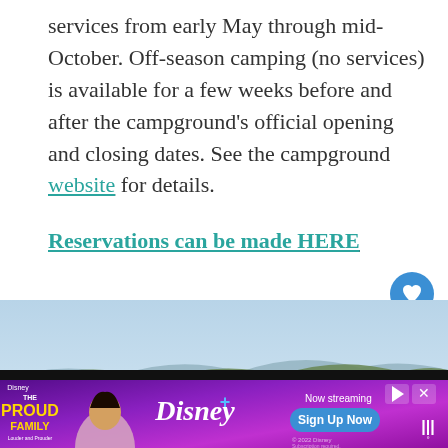services from early May through mid-October. Off-season camping (no services) is available for a few weeks before and after the campground's official opening and closing dates. See the campground website for details.
Reservations can be made HERE
[Figure (photo): Aerial view of green forested hills and winding dirt roads through a campground area, with mountains in the background under a hazy sky. Social sharing buttons (heart with count 2, and share icon) visible on the right side. A 'What's Next' panel showing 'The Complete Guide to...' partially visible in the bottom right corner.]
[Figure (screenshot): Advertisement banner for Disney+ 'The Proud Family: Louder and Prouder'. Shows the show logo on the left, an animated character, the Disney+ logo in the center, 'Now streaming' text with 'Sign Up Now' button on the right, weather indicator on far right. Purple gradient background.]